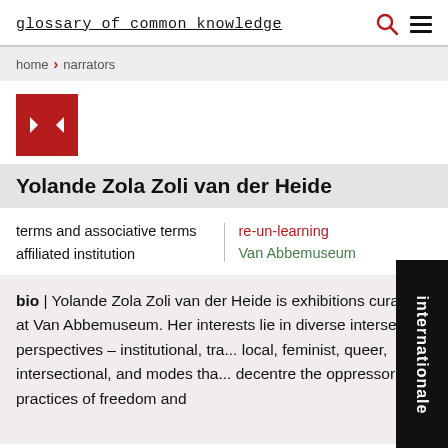glossary of common knowledge
home › narrators
[Figure (other): Red square button with left and right arrows (navigation control)]
Yolande Zola Zoli van der Heide
terms and associative terms
affiliated institution
re-un-learning
Van Abbemuseum
bio | Yolande Zola Zoli van der Heide is exhibitions curator at Van Abbemuseum. Her interests lie in diverse intersecting perspectives – institutional, tra... local, feminist, queer, intersectional, and modes tha... decentre the oppressor in practices of freedom and